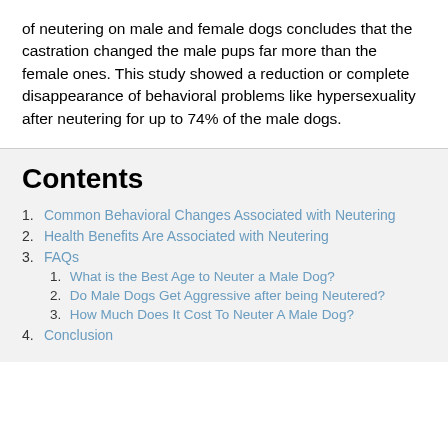of neutering on male and female dogs concludes that the castration changed the male pups far more than the female ones. This study showed a reduction or complete disappearance of behavioral problems like hypersexuality after neutering for up to 74% of the male dogs.
Contents
1. Common Behavioral Changes Associated with Neutering
2. Health Benefits Are Associated with Neutering
3. FAQs
3.1. What is the Best Age to Neuter a Male Dog?
3.2. Do Male Dogs Get Aggressive after being Neutered?
3.3. How Much Does It Cost To Neuter A Male Dog?
4. Conclusion